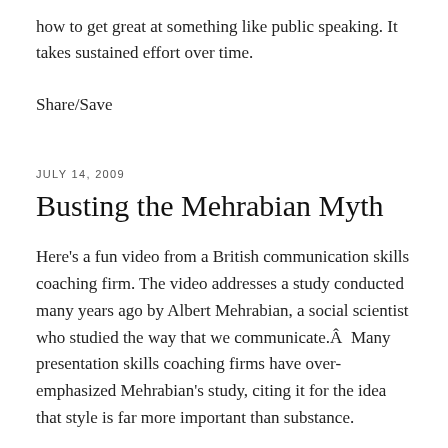how to get great at something like public speaking. It takes sustained effort over time.
Share/Save
JULY 14, 2009
Busting the Mehrabian Myth
Here's a fun video from a British communication skills coaching firm. The video addresses a study conducted many years ago by Albert Mehrabian, a social scientist who studied the way that we communicate.Â  Many presentation skills coaching firms have over-emphasized Mehrabian's study, citing it for the idea that style is far more important than substance.
At Speechworks, we have cited the study for years. But we don't see it as a religion. Rather, we merely cite it for